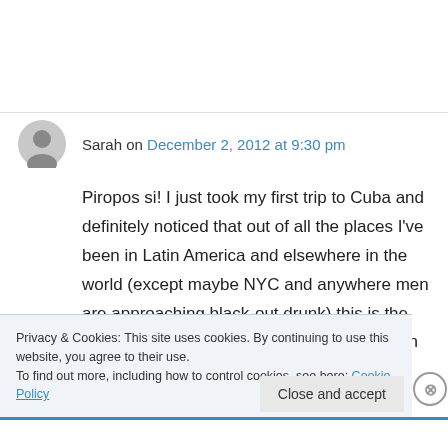Sarah on December 2, 2012 at 9:30 pm
Piropos si! I just took my first trip to Cuba and definitely noticed that out of all the places I've been in Latin America and elsewhere in the world (except maybe NYC and anywhere men are approaching black-out drunk) this is the only place where I've gotten any attention on the street. So I enjoyed the novelty of it, certainly!
Privacy & Cookies: This site uses cookies. By continuing to use this website, you agree to their use.
To find out more, including how to control cookies, see here: Cookie Policy